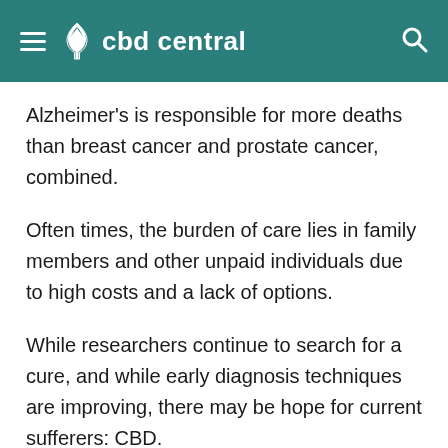cbd central
Alzheimer's is responsible for more deaths than breast cancer and prostate cancer, combined.
Often times, the burden of care lies in family members and other unpaid individuals due to high costs and a lack of options.
While researchers continue to search for a cure, and while early diagnosis techniques are improving, there may be hope for current sufferers: CBD.
As a neurodegenerative disease that